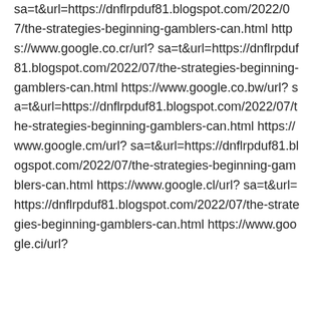sa=t&url=https://dnflrpduf81.blogspot.com/2022/07/the-strategies-beginning-gamblers-can.html https://www.google.co.cr/url?sa=t&url=https://dnflrpduf81.blogspot.com/2022/07/the-strategies-beginning-gamblers-can.html https://www.google.co.bw/url?sa=t&url=https://dnflrpduf81.blogspot.com/2022/07/the-strategies-beginning-gamblers-can.html https://www.google.cm/url?sa=t&url=https://dnflrpduf81.blogspot.com/2022/07/the-strategies-beginning-gamblers-can.html https://www.google.cl/url?sa=t&url=https://dnflrpduf81.blogspot.com/2022/07/the-strategies-beginning-gamblers-can.html https://www.google.ci/url?